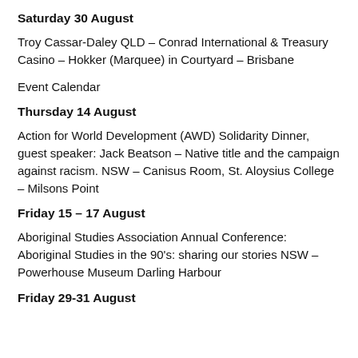Saturday 30 August
Troy Cassar-Daley QLD – Conrad International & Treasury Casino – Hokker (Marquee) in Courtyard – Brisbane
Event Calendar
Thursday 14 August
Action for World Development (AWD) Solidarity Dinner, guest speaker: Jack Beatson – Native title and the campaign against racism. NSW – Canisus Room, St. Aloysius College – Milsons Point
Friday 15 – 17 August
Aboriginal Studies Association Annual Conference: Aboriginal Studies in the 90's: sharing our stories NSW – Powerhouse Museum Darling Harbour
Friday 29-31 August